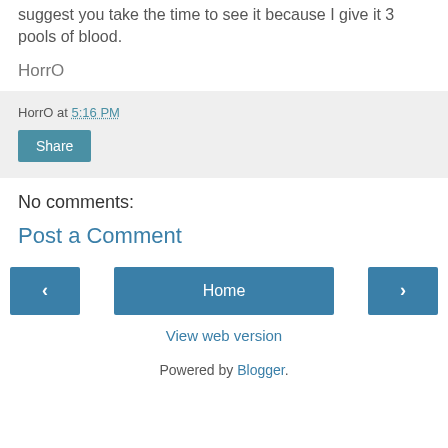suggest you take the time to see it because I give it 3 pools of blood.
HorrO
HorrO at 5:16 PM
Share
No comments:
Post a Comment
‹
Home
›
View web version
Powered by Blogger.